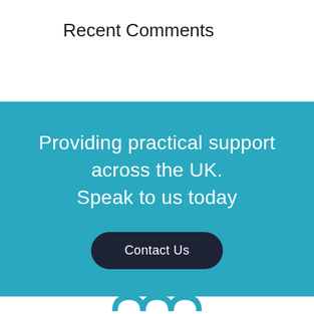Recent Comments
Providing practical support across the UK.
Speak to us today
Contact Us